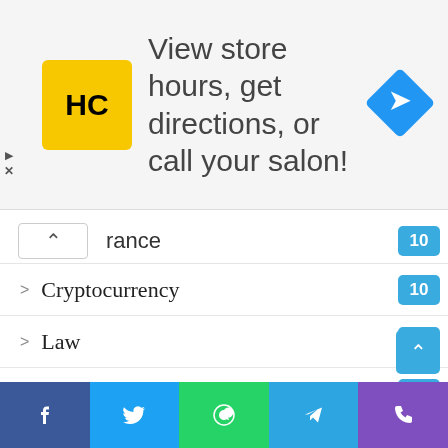[Figure (infographic): Advertisement banner: HC Haircuts logo (yellow square with HC text), text 'View store hours, get directions, or call your salon!', blue navigation diamond icon on the right.]
rance 10
Cryptocurrency 10
Law 9
Jewelry 7
CBD 7
Review 6
Services 6
Finance 5
Dogs 5
Marketing